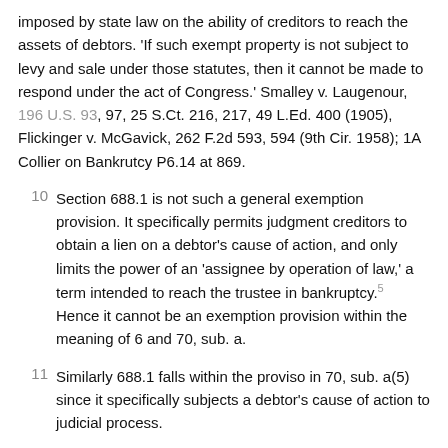imposed by state law on the ability of creditors to reach the assets of debtors. 'If such exempt property is not subject to levy and sale under those statutes, then it cannot be made to respond under the act of Congress.' Smalley v. Laugenour, 196 U.S. 93, 97, 25 S.Ct. 216, 217, 49 L.Ed. 400 (1905), Flickinger v. McGavick, 262 F.2d 593, 594 (9th Cir. 1958); 1A Collier on Bankrutcy P6.14 at 869.
10 Section 688.1 is not such a general exemption provision. It specifically permits judgment creditors to obtain a lien on a debtor's cause of action, and only limits the power of an 'assignee by operation of law,' a term intended to reach the trustee in bankruptcy.[5] Hence it cannot be an exemption provision within the meaning of 6 and 70, sub. a.
11 Similarly 688.1 falls within the proviso in 70, sub. a(5) since it specifically subjects a debtor's cause of action to judicial process.
12 The operative effect of 688.1(b) limits the powers of the trustee under 70, sub. c:
13 The trustee shall have as of the date of bankruptcy the rights and powers of: (1) a creditor who obtained a judgment against the